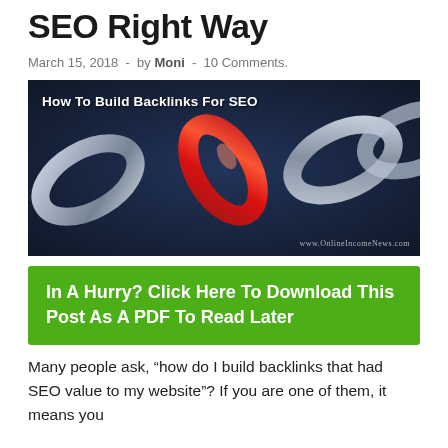SEO Right Way
March 15, 2018  -  by Moni  -  10 Comments.
[Figure (photo): Photo of chain links with one red link, overlaid with text 'How To Build Backlinks For SEO' and watermark 'www.OnlineIncomeNews.com']
In A Hurry? Click Here To Download This Post As A PDF To Read Later
Many people ask, “how do I build backlinks that had SEO value to my website”? If you are one of them, it means you